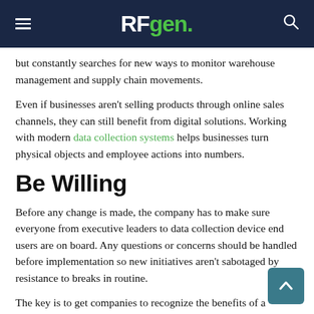RFgen
but constantly searches for new ways to monitor warehouse management and supply chain movements.
Even if businesses aren't selling products through online sales channels, they can still benefit from digital solutions. Working with modern data collection systems helps businesses turn physical objects and employee actions into numbers.
Be Willing
Before any change is made, the company has to make sure everyone from executive leaders to data collection device end users are on board. Any questions or concerns should be handled before implementation so new initiatives aren't sabotaged by resistance to breaks in routine.
The key is to get companies to recognize the benefits of a completely digital supply chain. An Accenture report said